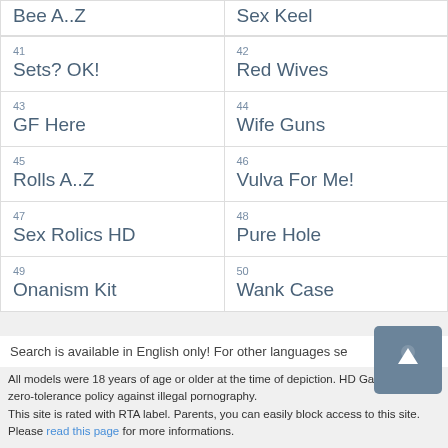| Bee A..Z | Sex Keel |
| 41
Sets? OK! | 42
Red Wives |
| 43
GF Here | 44
Wife Guns |
| 45
Rolls A..Z | 46
Vulva For Me! |
| 47
Sex Rolics HD | 48
Pure Hole |
| 49
Onanism Kit | 50
Wank Case |
Search is available in English only! For other languages se
All models were 18 years of age or older at the time of depiction. HD Gat! has a zero-tolerance policy against illegal pornography. This site is rated with RTA label. Parents, you can easily block access to this site. Please read this page for more informations.